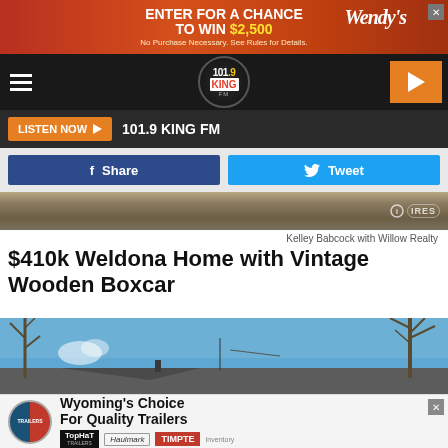[Figure (other): Wendy's advertisement banner: ENTER FOR A CHANCE TO WIN $2,500. No Purchase Necessary. See Rules for Details.]
[Figure (logo): 101.9 KING FM radio station logo in circular badge, navigation bar with hamburger menu and play button]
[Figure (other): LISTEN NOW button with play arrow, 101.9 KING FM text]
[Figure (other): Facebook Share button (dark blue) and Tweet button (light blue)]
[Figure (photo): Landscape strip showing grass/ground, with IRES logo watermark at right]
Kelley Babcock with Willow Realty
$410k Weldona Home with Vintage Wooden Boxcar
[Figure (photo): Exterior photo of a house with blue sky and bare trees in background]
[Figure (other): Wyoming's Choice For Quality Trailers advertisement featuring TopHat Trailers, Haulmark, and TIMPTE Inventory logos]